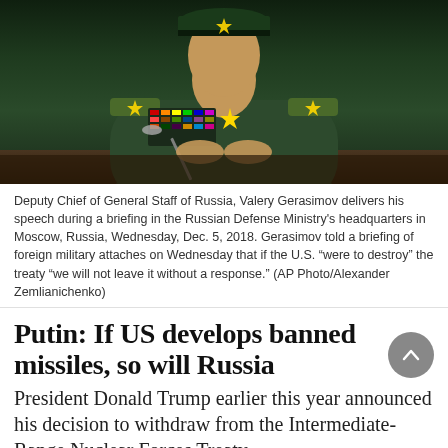[Figure (photo): Deputy Chief of General Staff of Russia, Valery Gerasimov in military uniform with medals and decorations, seated at a table with microphones, delivering a speech at the Russian Defense Ministry headquarters in Moscow.]
Deputy Chief of General Staff of Russia, Valery Gerasimov delivers his speech during a briefing in the Russian Defense Ministry's headquarters in Moscow, Russia, Wednesday, Dec. 5, 2018. Gerasimov told a briefing of foreign military attaches on Wednesday that if the U.S. “were to destroy” the treaty “we will not leave it without a response.” (AP Photo/Alexander Zemlianichenko)
Putin: If US develops banned missiles, so will Russia
President Donald Trump earlier this year announced his decision to withdraw from the Intermediate-Range Nuclear Forces Treaty
THE CANADIAN PRESS / Dec. 5, 2018 6:20 a.m. / NEWS
[Figure (illustration): Advertisement banner for Kitselas. Text reads: Questions about the Treaty? We'll come to you! Kitselas Members: book a home visit with the Treaty Engagement Team! MORE INFO »]